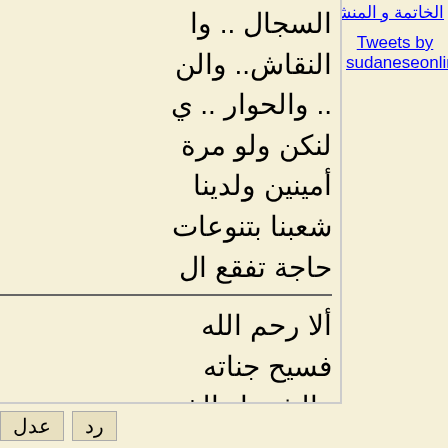السجال .. وا
النقاش.. والن
.. والحوار .. ي
لنكن ولو مرة
أمينين ولدينا
شعبنا بتنوعات
حاجة تفقع ال
ألا رحم الله
فسيح جناته
والشهداء الذ
مثلما كان دا
أفضل الشهد
(عدل بواسم
عدل  رد
Tweets by sudaneseonline1